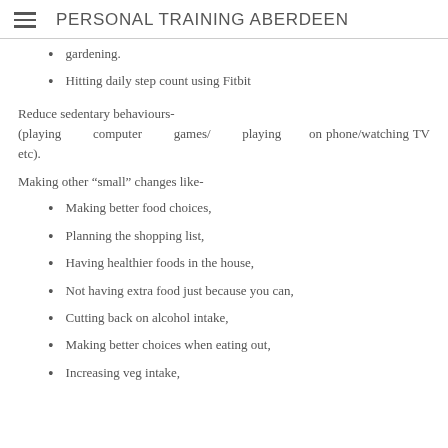PERSONAL TRAINING ABERDEEN
gardening.
Hitting daily step count using Fitbit
Reduce sedentary behaviours- (playing computer games/ playing on phone/watching TV etc).
Making other “small” changes like-
Making better food choices,
Planning the shopping list,
Having healthier foods in the house,
Not having extra food just because you can,
Cutting back on alcohol intake,
Making better choices when eating out,
Increasing veg intake,